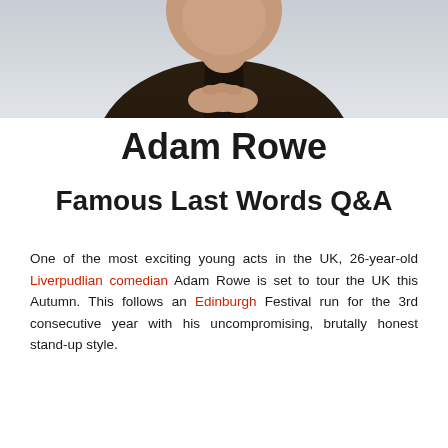[Figure (photo): Photograph of Adam Rowe, a man in a dark brown jacket, clasping his hands together in front of a light grey background. The image is cropped at roughly chin/chest level showing the upper torso.]
Adam Rowe
Famous Last Words Q&A
One of the most exciting young acts in the UK, 26-year-old Liverpudlian comedian Adam Rowe is set to tour the UK this Autumn. This follows an Edinburgh Festival run for the 3rd consecutive year with his uncompromising, brutally honest stand-up style.